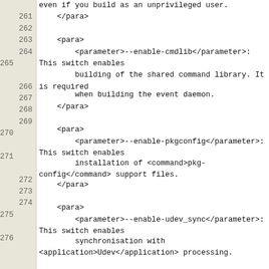Code listing showing XML documentation lines 261-276+ with --enable-cmdlib, --enable-pkgconfig, and --enable-udev_sync parameters